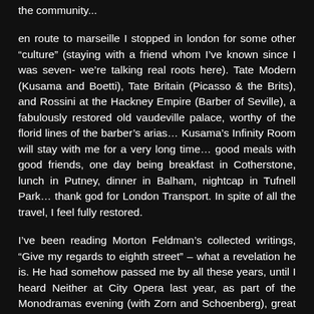the community...
en route to marseille I stopped in london for some other “culture” (staying with a friend whom I’ve known since I was seven- we’re talking real roots here). Tate Modern (Kusama and Boetti), Tate Britain (Picasso & the Brits), and Rossini at the Hackney Empire (Barber of Seville), a fabulously restored old vaudeville palace, worthy of the florid lines of the barber’s arias… Kusama’s Infinity Room will stay with me for a very long time… good meals with good friends, one day being breakfast in Cotherstone, lunch in Putney, dinner in Balham, nightcap in Tufnell Park… thank god for London Transport. In spite of all the travel, I feel fully restored.
I’ve been reading Morton Feldman’s collected writings, “Give my regards to eighth street” – what a revelation he is. He had somehow passed me by all these years, until I heard Neither at City Opera last year, as part of the Monodramas evening (with Zorn and Schoenberg), great night, particularly the Feldman, which knocked my socks off. And now this (I